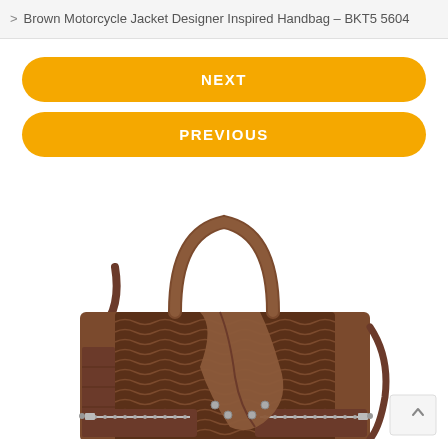> Brown Motorcycle Jacket Designer Inspired Handbag - BKT5 5604
NEXT
PREVIOUS
[Figure (photo): Brown motorcycle jacket designer inspired handbag with snake-texture panels, zipper details, top handles, and shoulder strap. Product shown from front angle. SKU BKT55604.]